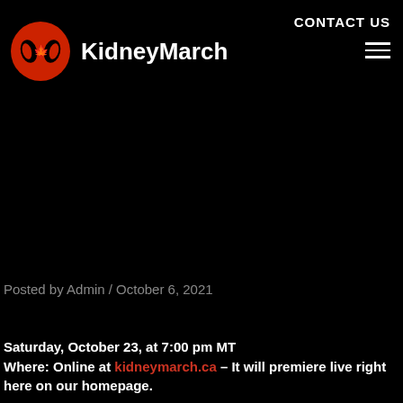KidneyMarch | CONTACT US
Posted by Admin / October 6, 2021
Saturday, October 23, at 7:00 pm MT
Where: Online at kidneymarch.ca – It will premiere live right here on our homepage.